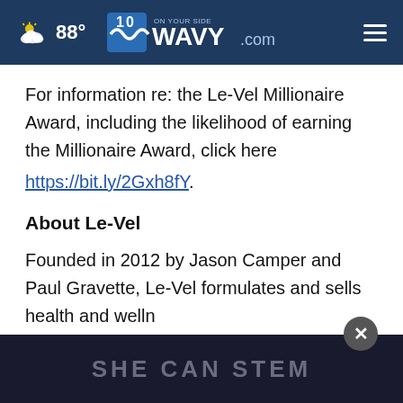88° WAVY.com ON YOUR SIDE 10
For information re: the Le-Vel Millionaire Award, including the likelihood of earning the Millionaire Award, click here https://bit.ly/2Gxh8fY.
About Le-Vel
Founded in 2012 by Jason Camper and Paul Gravette, Le-Vel formulates and sells health and wellness products and his products include of
[Figure (other): Dark overlay advertisement banner reading 'SHE CAN STEM' with a close (X) button]